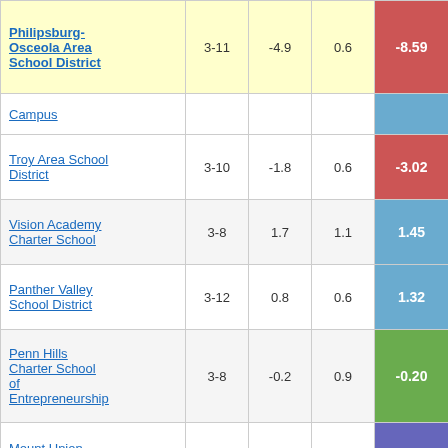| School/District | Grades | Col3 | Col4 | Score |
| --- | --- | --- | --- | --- |
| Philipsburg-Osceola Area School District | 3-11 | -4.9 | 0.6 | -8.59 |
| Campus |  |  |  |  |
| Troy Area School District | 3-10 | -1.8 | 0.6 | -3.02 |
| Vision Academy Charter School | 3-8 | 1.7 | 1.1 | 1.45 |
| Panther Valley School District | 3-12 | 0.8 | 0.6 | 1.32 |
| Penn Hills Charter School of Entrepreneurship | 3-8 | -0.2 | 0.9 | -0.20 |
| Mount Union Area School District | 3-10 | 3.0 | 0.7 | 4.49 |
| Old Forge School District | 3-12 | -2.1 | 0.8 | -2.75 |